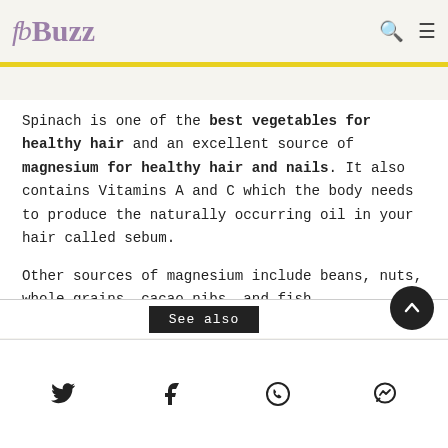FbBuzz
...ins A and C...
Spinach is one of the best vegetables for healthy hair and an excellent source of magnesium for healthy hair and nails. It also contains Vitamins A and C which the body needs to produce the naturally occurring oil in your hair called sebum.
Other sources of magnesium include beans, nuts, whole grains, cacao nibs, and fish.
See also
Social share icons: Twitter, Facebook, WhatsApp, Messenger